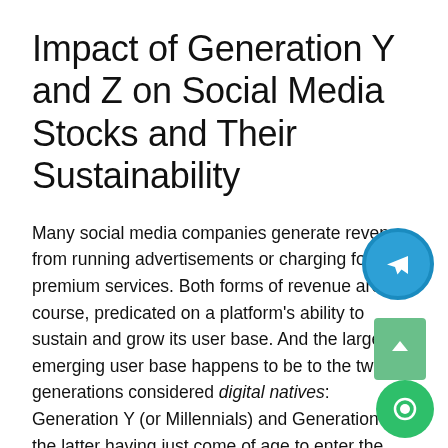Impact of Generation Y and Z on Social Media Stocks and Their Sustainability
Many social media companies generate revenue from running advertisements or charging for premium services. Both forms of revenue are, of course, predicated on a platform's ability to sustain and grow its user base. And the largest emerging user base happens to be to the two generations considered digital natives: Generation Y (or Millennials) and Generation Z; the latter having just come of age to enter the investor class.
What this could mean is that the potential success of a given technology in the social media space may depend not only on its ability to innovate but on its